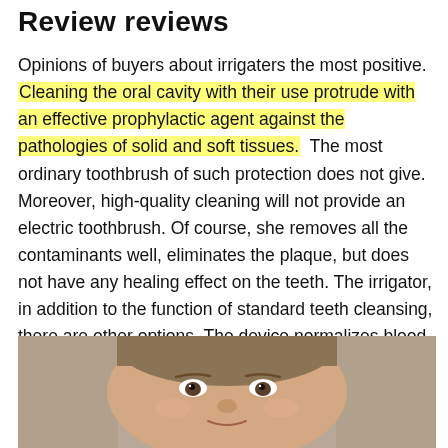Review reviews
Opinions of buyers about irrigaters the most positive. Cleaning the oral cavity with their use protrude with an effective prophylactic agent against the pathologies of solid and soft tissues. The most ordinary toothbrush of such protection does not give. Moreover, high-quality cleaning will not provide an electric toothbrush. Of course, she removes all the contaminants well, eliminates the plaque, but does not have any healing effect on the teeth. The irrigator, in addition to the function of standard teeth cleansing, there are other options. The device normalizes blood circulation in soft and solid tissues than prevents the development of dental pathologies.
[Figure (photo): Close-up photo of a young person's face, appears to be a child or teenager, smiling or with a neutral expression, photographed against a blurred background.]